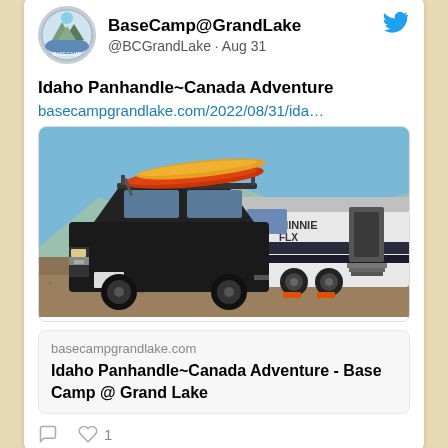BaseCamp@GrandLake
@BCGrandLake · Aug 31
Idaho Panhandle~Canada Adventure
basecampgrandlake.com/2022/08/31/ida…
[Figure (photo): A black SUV (Chevrolet Tahoe) with kayaks on roof rack towing a Minnie FLX travel trailer/camper, parked on gravel.]
basecampgrandlake.com
Idaho Panhandle~Canada Adventure - Base Camp @ Grand Lake
1